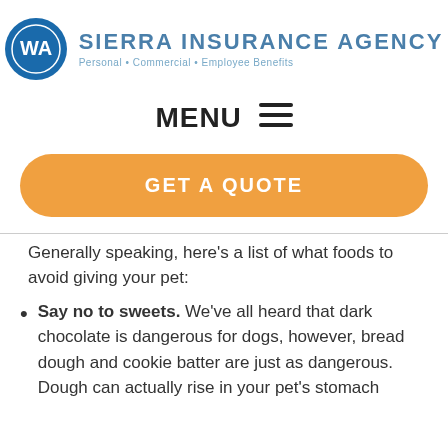[Figure (logo): Sierra Insurance Agency logo with blue circle containing WA initials and agency name with tagline Personal • Commercial • Employee Benefits]
MENU ≡
[Figure (other): Orange rounded rectangle GET A QUOTE button]
Generally speaking, here's a list of what foods to avoid giving your pet:
Say no to sweets. We've all heard that dark chocolate is dangerous for dogs, however, bread dough and cookie batter are just as dangerous. Dough can actually rise in your pet's stomach